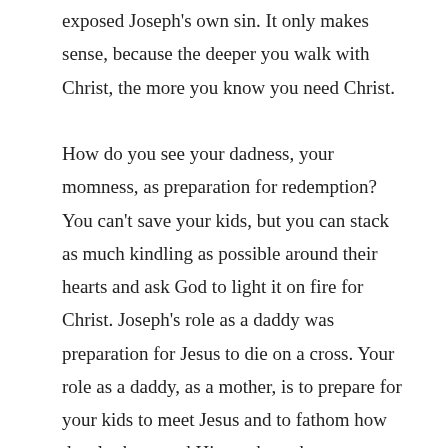exposed Joseph's own sin. It only makes sense, because the deeper you walk with Christ, the more you know you need Christ.

How do you see your dadness, your momness, as preparation for redemption? You can't save your kids, but you can stack as much kindling as possible around their hearts and ask God to light it on fire for Christ. Joseph's role as a daddy was preparation for Jesus to die on a cross. Your role as a daddy, as a mother, is to prepare for your kids to meet Jesus and to fathom how deeply they need His work on the cross. That means, more than anything, you need to live a godly... [continues]